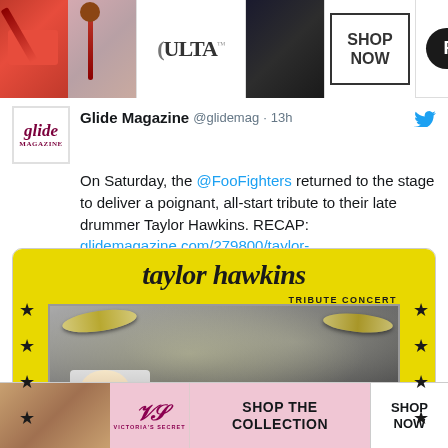[Figure (photo): Top banner advertisement for ULTA Beauty showing makeup/cosmetics imagery with 'SHOP NOW' text and a 'Follow' button]
Glide Magazine @glidemag · 13h
On Saturday, the @FooFighters returned to the stage to deliver a poignant, all-start tribute to their late drummer Taylor Hawkins. RECAP: glidemagazine.com/279800/taylor-…
[Figure (photo): Taylor Hawkins Tribute Concert promotional image on yellow background with stars, showing drummer playing cymbals in black and white photo]
glidemagazine.com
Taylor Hawkins Wembley Stadium
[Figure (photo): Bottom banner advertisement for Victoria's Secret showing 'SHOP THE COLLECTION' and 'SHOP NOW' with model photo]